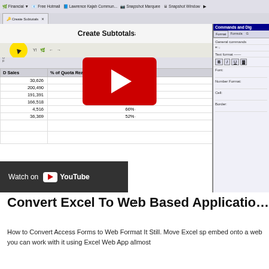[Figure (screenshot): YouTube video thumbnail showing Excel spreadsheet with 'Create Subtotals' title, a spreadsheet with YTD Sales and % of Quota Reached columns, a YouTube play button overlay, browser toolbar, and a 'Watch on YouTube' overlay bar at bottom. A right-side panel shows Commands and Digits formatting options.]
Convert Excel To Web Based Applicatio...
How to Convert Access Forms to Web Format It Still. Move Excel sp embed onto a web you can work with it using Excel Web App almost